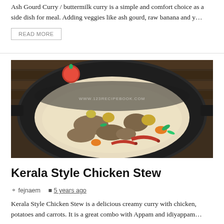Ash Gourd Curry / buttermilk curry is a simple and comfort choice as a side dish for meal. Adding veggies like ash gourd, raw banana and y…
READ MORE
[Figure (photo): Kerala Style Chicken Stew in a black iron wok/kadai. The stew is creamy white with chicken pieces, potatoes, carrots, red chilies, and green herbs. A watermark reads www.123recipebook.com. A tomato is visible in the background on a wooden surface.]
Kerala Style Chicken Stew
fejnaem  5 years ago
Kerala Style Chicken Stew is a delicious creamy curry with chicken, potatoes and carrots. It is a great combo with Appam and idiyappam…